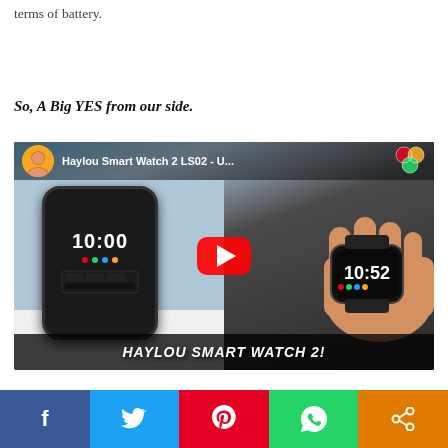terms of battery.
So, A Big YES from our side.
[Figure (screenshot): YouTube video thumbnail for 'Haylou Smart Watch 2 LS02 - U...' showing a smartwatch at 10:00 on the left and a hand holding the watch showing 10:52 on the right, with a YouTube play button in the center and 'HAYLOU SMART WATCH 2!' text at the bottom.]
Facebook Twitter Pinterest WhatsApp Share